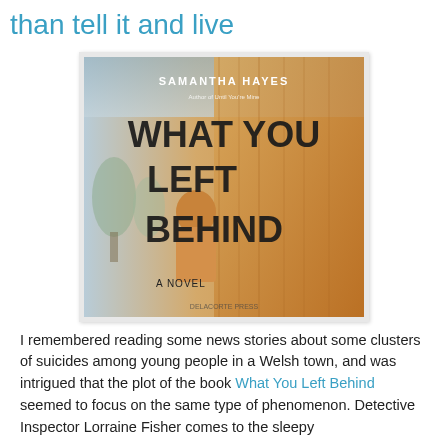than tell it and live
[Figure (photo): Book cover of 'What You Left Behind' by Samantha Hayes. A Novel. Shows a person standing against a textured wall with warm orange/golden tones.]
I remembered reading some news stories about some clusters of suicides among young people in a Welsh town, and was intrigued that the plot of the book What You Left Behind seemed to focus on the same type of phenomenon. Detective Inspector Lorraine Fisher comes to the sleepy